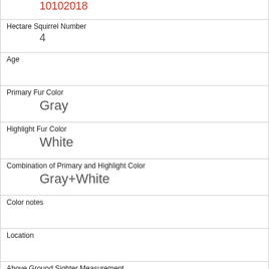| 10102018 |  |
| Hectare Squirrel Number | 4 |
| Age |  |
| Primary Fur Color | Gray |
| Highlight Fur Color | White |
| Combination of Primary and Highlight Color | Gray+White |
| Color notes |  |
| Location |  |
| Above Ground Sighter Measurement |  |
| Specific Location |  |
| Running | 0 |